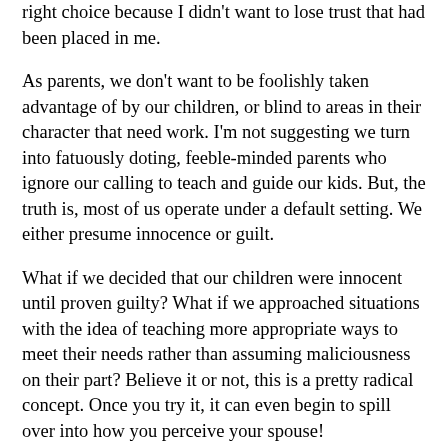right choice because I didn't want to lose trust that had been placed in me.
As parents, we don't want to be foolishly taken advantage of by our children, or blind to areas in their character that need work. I'm not suggesting we turn into fatuously doting, feeble-minded parents who ignore our calling to teach and guide our kids. But, the truth is, most of us operate under a default setting. We either presume innocence or guilt.
What if we decided that our children were innocent until proven guilty? What if we approached situations with the idea of teaching more appropriate ways to meet their needs rather than assuming maliciousness on their part? Believe it or not, this is a pretty radical concept. Once you try it, it can even begin to spill over into how you perceive your spouse!
Will you ever get burned? Probably. There will always be times when we don't have all the facts and are required to guess to the best of our ability. But if we expect the worst, we will be wrong just as often or more so, and the consequences to our relationship may be even more dire.